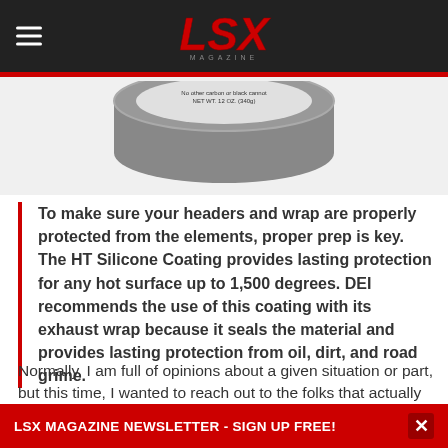LSX MAGAZINE
[Figure (photo): Bottom portion of a round tin/container of DEI HT Silicone Coating, 12 oz (340g), showing the label and lid against a light gray background.]
To make sure your headers and wrap are properly protected from the elements, proper prep is key. The HT Silicone Coating provides lasting protection for any hot surface up to 1,500 degrees. DEI recommends the use of this coating with its exhaust wrap because it seals the material and provides lasting protection from oil, dirt, and road grime.
Normally, I am full of opinions about a given situation or part, but this time, I wanted to reach out to the folks that actually make header wrap and see what input
LSX MAGAZINE NEWSLETTER - SIGN UP FREE!